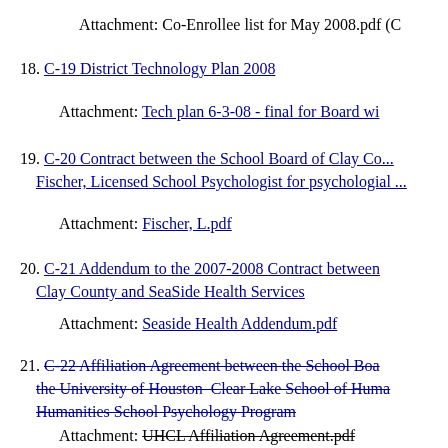Attachment: Co-Enrollee list for May 2008.pdf (C...
18. C-19 District Technology Plan 2008
Attachment: Tech plan 6-3-08 - final for Board wi...
19. C-20 Contract between the School Board of Clay Co... Fischer, Licensed School Psychologist for psychologial...
Attachment: Fischer, L.pdf
20. C-21 Addendum to the 2007-2008 Contract between... Clay County and SeaSide Health Services
Attachment: Seaside Health Addendum.pdf
21. C-22 Affiliation Agreement between the School Boa... the University of Houston Clear Lake School of Huma... Humanities School Psychology Program (strikethrough)
Attachment: UHCL Affiliation Agreement.pdf (strikethrough)
22. C-23 Agreement between the School Board of Clay... Bell, Law Enforcement Officer for the Clay County She...
Attachment: Tim Bell.pdf